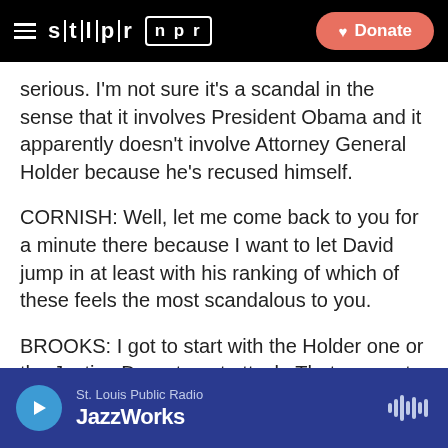STLPR NPR — Donate
serious. I'm not sure it's a scandal in the sense that it involves President Obama and it apparently doesn't involve Attorney General Holder because he's recused himself.
CORNISH: Well, let me come back to you for a minute there because I want to let David jump in at least with his ranking of which of these feels the most scandalous to you.
BROOKS: I got to start with the Holder one or the Justice Department attack. That seems to be the most upfront, the most obvious and the most thuggish government overreach, which really makes it impossible
St. Louis Public Radio — JazzWorks